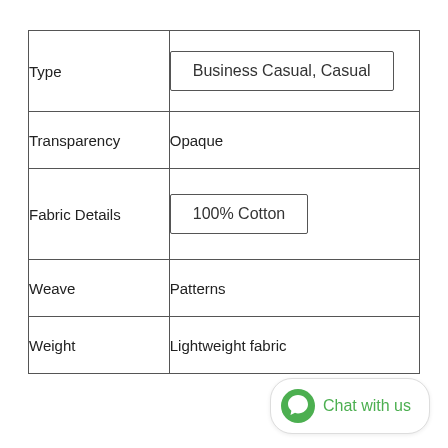| Attribute | Value |
| --- | --- |
| Type | Business Casual, Casual |
| Transparency | Opaque |
| Fabric Details | 100% Cotton |
| Weave | Patterns |
| Weight | Lightweight fabric |
Chat with us